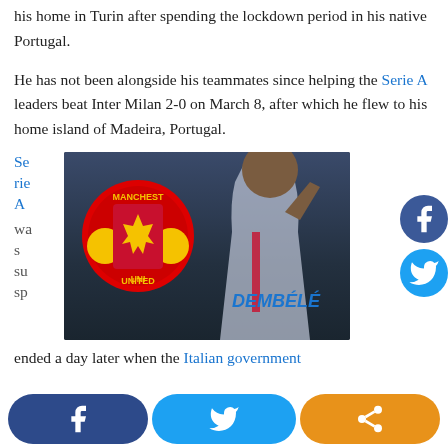his home in Turin after spending the lockdown period in his native Portugal.
He has not been alongside his teammates since helping the Serie A leaders beat Inter Milan 2-0 on March 8, after which he flew to his home island of Madeira, Portugal.
[Figure (photo): Photo of Dembele player in Lyon jersey with Manchester United crest overlay. Text 'DEMBÉLÉ' visible on jersey. Sidebar text reads 'Serie A was susp' and then continues below image with 'ended a day later when the Italian government']
Serie A was suspended a day later when the Italian government